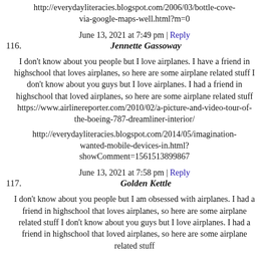http://everydayliteracies.blogspot.com/2006/03/bottle-cove-via-google-maps-well.html?m=0
June 13, 2021 at 7:49 pm | Reply
116.   Jennette Gassoway
I don't know about you people but I love airplanes. I have a friend in highschool that loves airplanes, so here are some airplane related stuff I don't know about you guys but I love airplanes. I had a friend in highschool that loved airplanes, so here are some airplane related stuff https://www.airlinereporter.com/2010/02/a-picture-and-video-tour-of-the-boeing-787-dreamliner-interior/
http://everydayliteracies.blogspot.com/2014/05/imagination-wanted-mobile-devices-in.html?showComment=1561513899867
June 13, 2021 at 7:58 pm | Reply
117.   Golden Kettle
I don't know about you people but I am obsessed with airplanes. I had a friend in highschool that loves airplanes, so here are some airplane related stuff I don't know about you guys but I love airplanes. I had a friend in highschool that loved airplanes, so here are some airplane related stuff